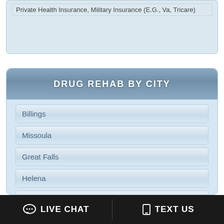Private Health Insurance, Military Insurance (E.G., Va, Tricare)
DRUG REHAB BY CITY
Billings
Missoula
Great Falls
Helena
Bozeman
Kalispell
Butte
LIVE CHAT   TEXT US